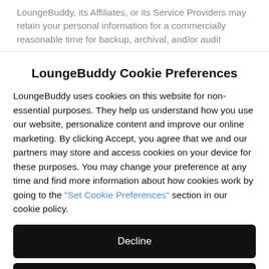LoungeBuddy, its Affiliates, or its Service Providers may retain your personal information for a commercially reasonable time for backup, archival, and/or audit
LoungeBuddy Cookie Preferences
LoungeBuddy uses cookies on this website for non-essential purposes. They help us understand how you use our website, personalize content and improve our online marketing. By clicking Accept, you agree that we and our partners may store and access cookies on your device for these purposes. You may change your preference at any time and find more information about how cookies work by going to the "Set Cookie Preferences" section in our cookie policy.
Decline
Accept
Options